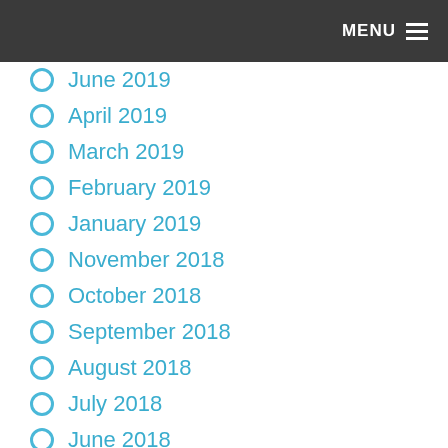MENU
June 2019
April 2019
March 2019
February 2019
January 2019
November 2018
October 2018
September 2018
August 2018
July 2018
June 2018
May 2018
March 2018
January 2018
November 2017
August 2017